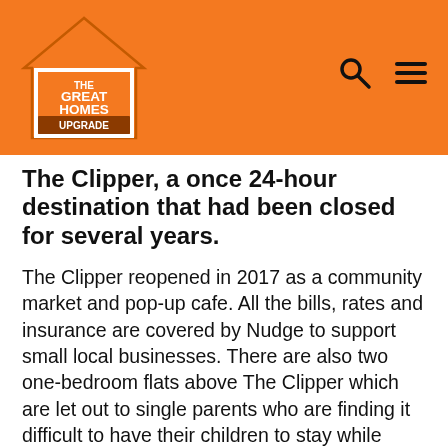[Figure (logo): The Great Homes Upgrade logo — house shape in orange with white text 'THE GREAT HOMES UPGRADE' on an orange navigation bar with search and hamburger menu icons]
The Clipper, a once 24-hour destination that had been closed for several years.
The Clipper reopened in 2017 as a community market and pop-up cafe. All the bills, rates and insurance are covered by Nudge to support small local businesses. There are also two one-bedroom flats above The Clipper which are let out to single parents who are finding it difficult to have their children to stay while living in shared accommodation.
The accommodation idea came from a